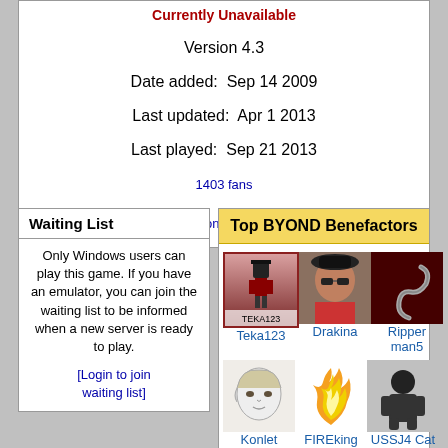Currently Unavailable
Version 4.3
Date added:  Sep 14 2009
Last updated:  Apr 1 2013
Last played:  Sep 21 2013
1403 fans
[Bonus features]
Waiting List
Only Windows users can play this game. If you have an emulator, you can join the waiting list to be informed when a new server is ready to play.
[Login to join waiting list]
Top BYOND Benefactors
Teka123
Drakina
Ripper man5
Konlet
FIREking
USSJ4 Cat
$1,000  $2,000  $3,000  $4,000  $5,000
Please support BYOND through Membership or a donation!
Comments
[Figure (other): Black box with yellow border thumbnail image]